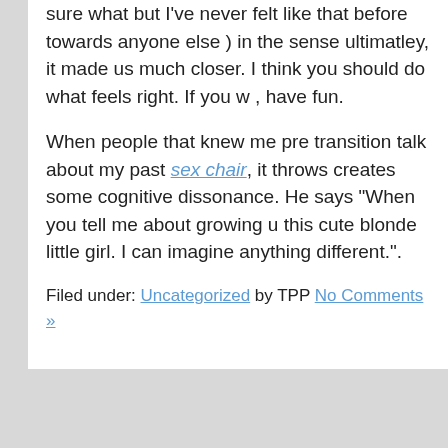sure what but I've never felt like that before towards anyone else ) in the sense ultimatley, it made us much closer. I think you should do what feels right. If you w , have fun.
When people that knew me pre transition talk about my past sex chair, it throws creates some cognitive dissonance. He says "When you tell me about growing u this cute blonde little girl. I can imagine anything different.".
Filed under: Uncategorized by TPP No Comments »
[Figure (other): Tiled grid pattern of light gray rectangles on a darker gray background, appearing as a mosaic/thumbnail grid typical of a website's image gallery or sidebar widget area.]